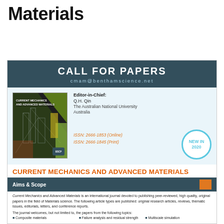Materials
[Figure (infographic): Call for Papers flyer for Current Mechanics and Advanced Materials journal by Bentham Science, showing journal cover, editor-in-chief info, ISSN numbers, aims & scope, and list topics]
CALL FOR PAPERS
cmam@benthamscience.net
Editor-in-Chief:
Q.H. Qin
The Australian National University
Australia
NEW IN 2020
ISSN: 2666-1853 (Online)
ISSN: 2666-1845 (Print)
CURRENT MECHANICS AND ADVANCED MATERIALS
Aims & Scope
Current Mechanics and Advanced Materials is an international journal devoted to publishing peer-reviewed, high quality, original papers in the field of Materials science. The following article types are published: original research articles, reviews, thematic issues, editorials, letters, and conference reports.
The journal welcomes, but not limited to, the papers from the following topics:
Composite materials
Failure analysis and residual strength
Multiscale simulation